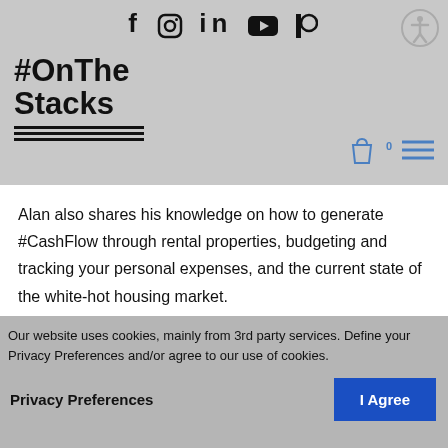f  Instagram  in  YouTube  Patreon — social icons header bar with #OnTheStacks logo
Alan also shares his knowledge on how to generate #CashFlow through rental properties, budgeting and tracking your personal expenses, and the current state of the white-hot housing market.
If you enjoy our podcast and want to support us, you can do so by purchasing some MERCH!
Our website uses cookies, mainly from 3rd party services. Define your Privacy Preferences and/or agree to our use of cookies.
Privacy Preferences
I Agree